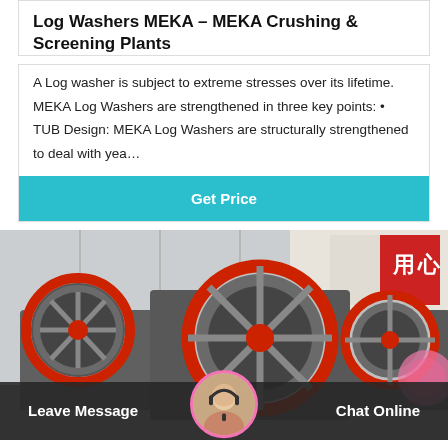Log Washers MEKA – MEKA Crushing & Screening Plants
A Log washer is subject to extreme stresses over its lifetime. MEKA Log Washers are strengthened in three key points: • TUB Design: MEKA Log Washers are structurally strengthened to deal with yea…
[Figure (other): Button linking to get price for MEKA Log Washers]
[Figure (photo): Photo of industrial jaw crusher machinery with large red-rimmed flywheels in a factory setting with Chinese characters visible on a banner in the background]
Leave Message   Chat Online